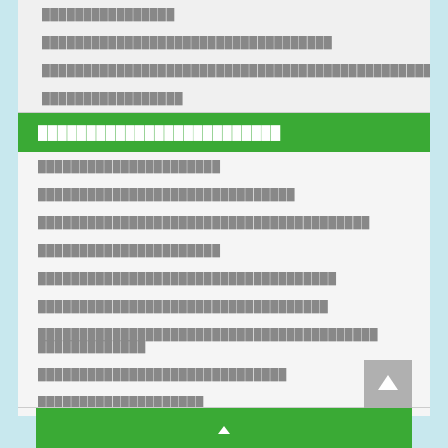████████████████
███████████████████████████████████
█████████████████████████████████████████████████
█████████████████
█████████████████████████
██████████████████████
███████████████████████████████
████████████████████████████████████████
██████████████████████
████████████████████████████████████
███████████████████████████████████
█████████████████████████████████████████ █████████████
██████████████████████████████
████████████████████